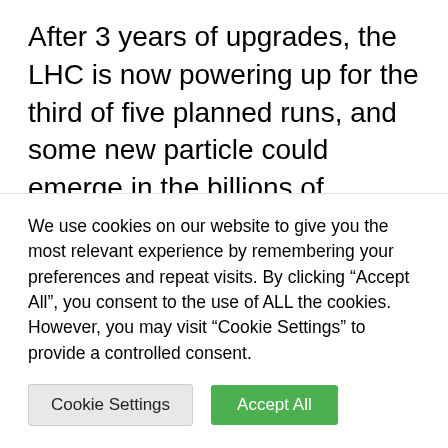After 3 years of upgrades, the LHC is now powering up for the third of five planned runs, and some new particle could emerge in the billions of proton-proton collisions it will produce every second. In fact, the LHC should run for another 16 years, and with further upgrades should collect 16 times as much data as it already has. All those data could reveal subtle signs of novel particles
We use cookies on our website to give you the most relevant experience by remembering your preferences and repeat visits. By clicking “Accept All”, you consent to the use of ALL the cookies. However, you may visit "Cookie Settings" to provide a controlled consent.